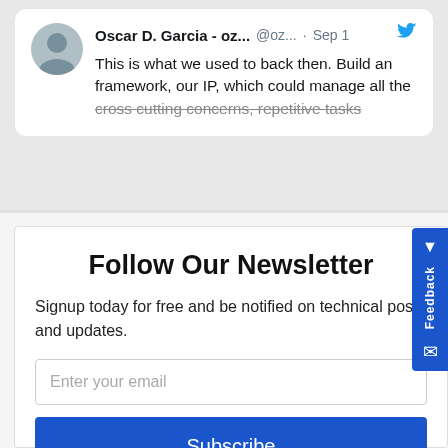[Figure (screenshot): Tweet card from Oscar D. Garcia (@oz...) dated Sep 1. Text: 'This is what we used to back then. Build an framework, our IP, which could manage all the cross cutting concerns, repetitive tasks']
Follow Our Newsletter
Signup today for free and be notified on technical posts and updates.
Enter your email
Subscribe
powered by MailMunch